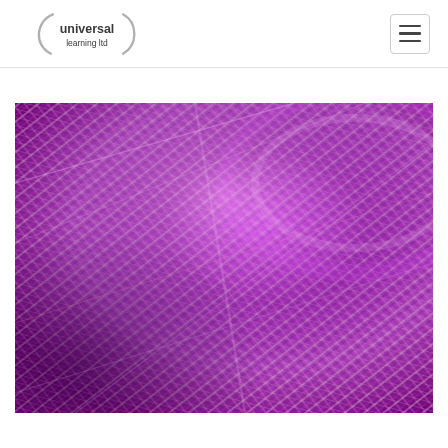Universal Learning Ltd logo and navigation
[Figure (photo): Close-up photograph of purple and pink metallic thread or yarn wound on a spool, showing interlaced fibres with a shiny, iridescent texture.]